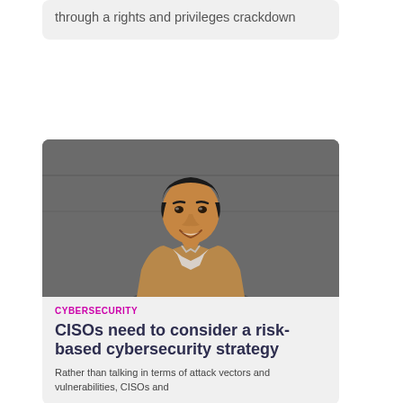through a rights and privileges crackdown
[Figure (photo): Portrait photo of a man in a tan/brown blazer with a light-colored shirt, smiling, photographed against a dark grey wall background]
CYBERSECURITY
CISOs need to consider a risk-based cybersecurity strategy
Rather than talking in terms of attack vectors and vulnerabilities, CISOs and